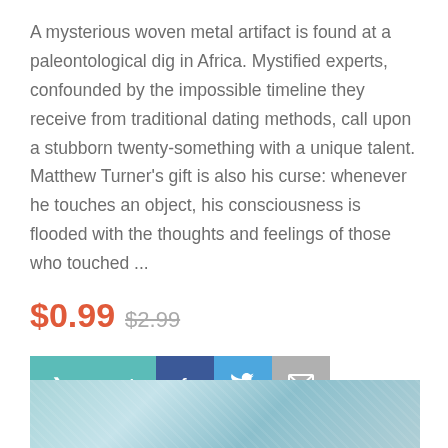A mysterious woven metal artifact is found at a paleontological dig in Africa. Mystified experts, confounded by the impossible timeline they receive from traditional dating methods, call upon a stubborn twenty-something with a unique talent. Matthew Turner's gift is also his curse: whenever he touches an object, his consciousness is flooded with the thoughts and feelings of those who touched ...
$0.99  $2.99
[Figure (other): Action buttons: Get Deal (teal), Facebook (dark blue), Twitter (blue), Email (gray)]
[Figure (photo): Partial image strip at the bottom showing a light blue/teal outdoor scene]